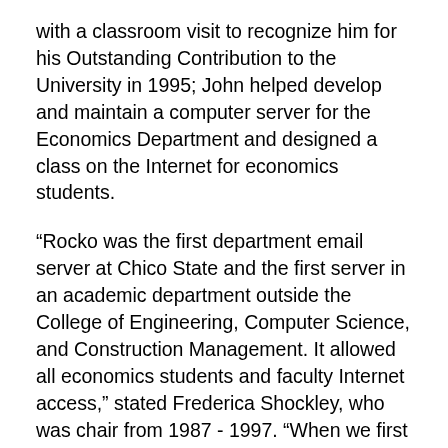with a classroom visit to recognize him for his Outstanding Contribution to the University in 1995; John helped develop and maintain a computer server for the Economics Department and designed a class on the Internet for economics students.
“Rocko was the first department email server at Chico State and the first server in an academic department outside the College of Engineering, Computer Science, and Construction Management. It allowed all economics students and faculty Internet access,” stated Frederica Shockley, who was chair from 1987 - 1997. “When we first started using the World Wide Web that John introduced us to, the background was always grey. I asked John if we could use another color and a few weeks later he proudly displayed a web page with a blue background. Many students and some professors put up their own personal web pages. Classes used it for computer simulations and statistical analysis.”
After graduation, John to also position as director of next...